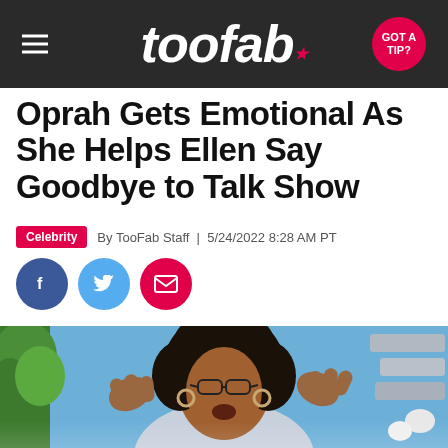toofab.
Oprah Gets Emotional As She Helps Ellen Say Goodbye to Talk Show
Celebrity | By TooFab Staff | 5/24/2022 8:28 AM PT
[Figure (photo): Photo of Oprah Winfrey with hands raised, speaking on The Ellen DeGeneres Show set with blue background and greenery.]